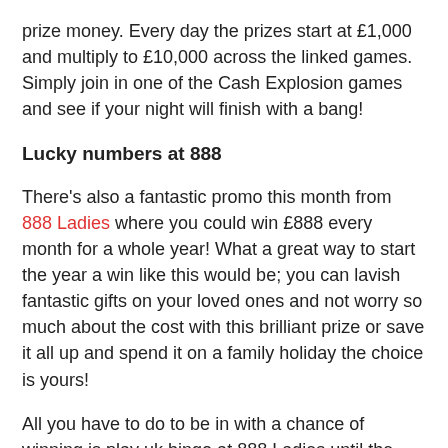prize money. Every day the prizes start at £1,000 and multiply to £10,000 across the linked games. Simply join in one of the Cash Explosion games and see if your night will finish with a bang!
Lucky numbers at 888
There's also a fantastic promo this month from 888 Ladies where you could win £888 every month for a whole year! What a great way to start the year a win like this would be; you can lavish fantastic gifts on your loved ones and not worry so much about the cost with this brilliant prize or save it all up and spend it on a family holiday the choice is yours!
All you have to do to be in with a chance of winning is play uk bingo at 888 Ladies until the 31st December and you'll be entered into the draw. No wonder everyone wants to be an 888 lady!